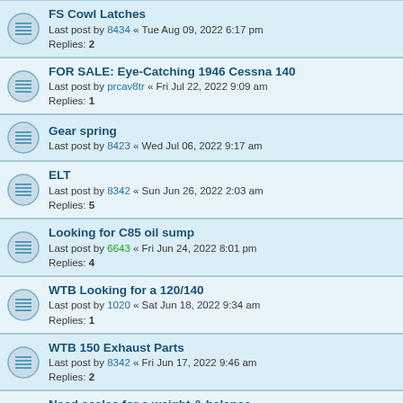FS Cowl Latches
Last post by 8434 « Tue Aug 09, 2022 6:17 pm
Replies: 2
FOR SALE: Eye-Catching 1946 Cessna 140
Last post by prcav8tr « Fri Jul 22, 2022 9:09 am
Replies: 1
Gear spring
Last post by 8423 « Wed Jul 06, 2022 9:17 am
ELT
Last post by 8342 « Sun Jun 26, 2022 2:03 am
Replies: 5
Looking for C85 oil sump
Last post by 6643 « Fri Jun 24, 2022 8:01 pm
Replies: 4
WTB Looking for a 120/140
Last post by 1020 « Sat Jun 18, 2022 9:34 am
Replies: 1
WTB 150 Exhaust Parts
Last post by 8342 « Fri Jun 17, 2022 9:46 am
Replies: 2
Need scales for a weight & balance
Last post by a64pilot « Tue Jun 14, 2022 7:46 pm
Replies: 1
120 exhaust
Last post by 6643 « Tue Jun 14, 2022 3:53 pm
Replies: 1
FOR SALE: Parting out C-120/C-140's--many parts available